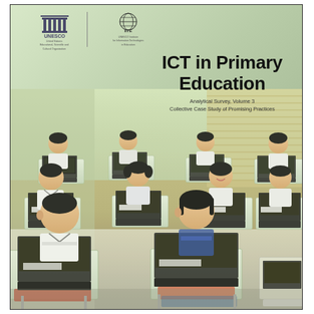[Figure (logo): UNESCO logo and UNESCO Institute for Information Technologies in Education (IITE) logo side by side with organization names below]
ICT in Primary Education
Analytical Survey, Volume 3
Collective Case Study of Promising Practices
[Figure (photo): Classroom photo showing Asian primary school children sitting at desks working on laptop computers in a modern classroom with green-tinted light]